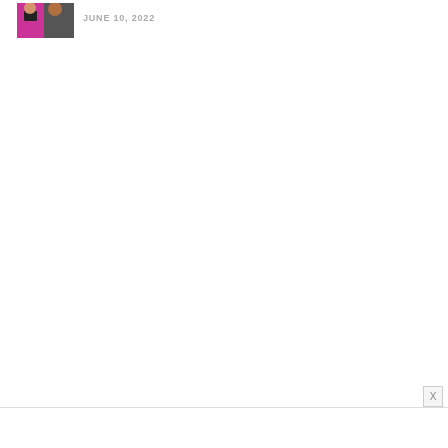[Figure (photo): Small thumbnail image of a person in a pink top holding a phone, with another person partially visible, in front of a dark background]
JUNE 10, 2022